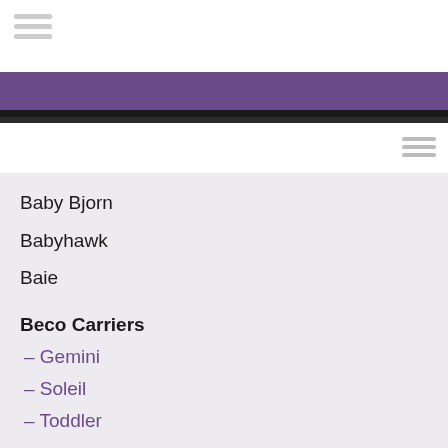Baby Bjorn
Babyhawk
Baie
Beco Carriers
– Gemini
– Soleil
– Toddler
Boba
Buzzidil
Calin Bleu